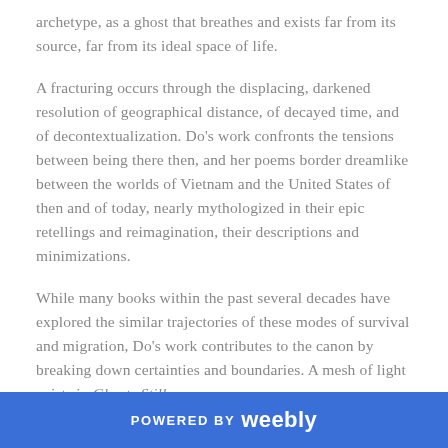archetype, as a ghost that breathes and exists far from its source, far from its ideal space of life.
A fracturing occurs through the displacing, darkened resolution of geographical distance, of decayed time, and of decontextualization. Do's work confronts the tensions between being there then, and her poems border dreamlike between the worlds of Vietnam and the United States of then and of today, nearly mythologized in their epic retellings and reimagination, their descriptions and minimizations.
While many books within the past several decades have explored the similar trajectories of these modes of survival and migration, Do's work contributes to the canon by breaking down certainties and boundaries. A mesh of light exists in Ghosts Still.
POWERED BY weebly